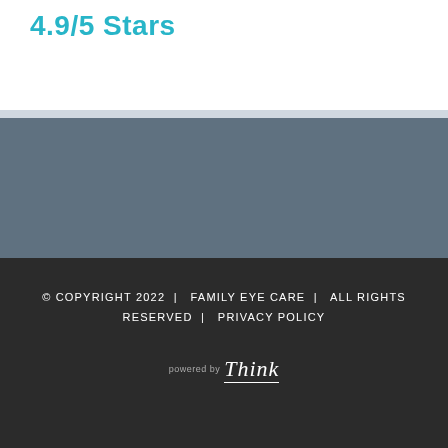4.9/5 Stars
© COPYRIGHT 2022  |  FAMILY EYE CARE  |  ALL RIGHTS RESERVED  |  PRIVACY POLICY
[Figure (logo): powered by Think logo in white text on dark background]